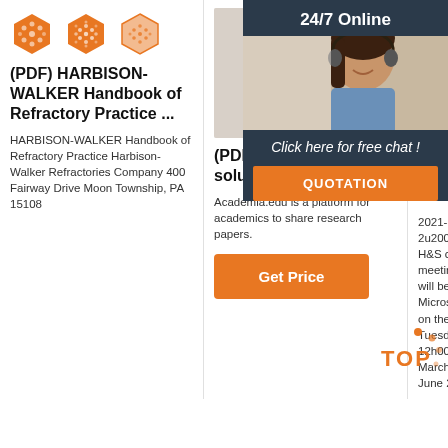[Figure (illustration): Three orange hexagonal dot-pattern icons in a row]
(PDF) HARBISON-WALKER Handbook of Refractory Practice ...
HARBISON-WALKER Handbook of Refractory Practice Harbison-Walker Refractories Company 400 Fairway Drive Moon Township, PA 15108
[Figure (photo): Photo of a cylindrical ceramic/refractory tube on a white background]
(PDF) chapter 7 shigly solution manual
Academia.edu is a platform for academics to share research papers.
[Figure (other): Button labeled Get Price in orange]
[Figure (photo): Photo of sandy-colored refractory brick blocks]
Health Safety Meeting...
2021-3... 2u2003... H&S committee meeting... will be held via Microsoft Teams on the following Tuesdays at 12h00-13h00: 2 March 2021; 1 June 2021; 31
[Figure (photo): 24/7 Online chat overlay with smiling woman wearing headset, orange QUOTATION button]
[Figure (logo): TOP badge logo in orange with dots]